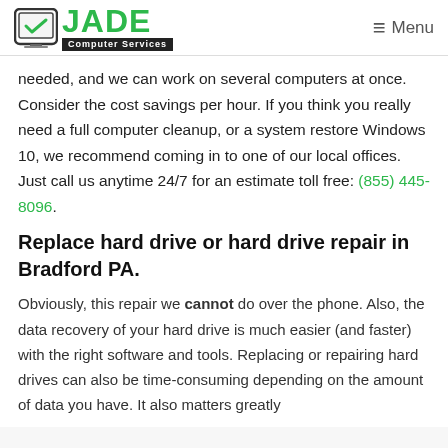JADE Computer Services | Menu
needed, and we can work on several computers at once. Consider the cost savings per hour. If you think you really need a full computer cleanup, or a system restore Windows 10, we recommend coming in to one of our local offices. Just call us anytime 24/7 for an estimate toll free: (855) 445-8096.
Replace hard drive or hard drive repair in Bradford PA.
Obviously, this repair we cannot do over the phone. Also, the data recovery of your hard drive is much easier (and faster) with the right software and tools. Replacing or repairing hard drives can also be time-consuming depending on the amount of data you have. It also matters greatly